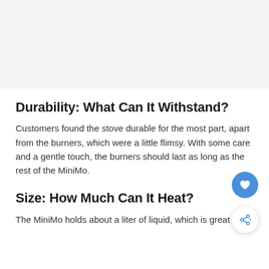[Figure (other): Gray placeholder image area at top of page]
Durability: What Can It Withstand?
Customers found the stove durable for the most part, apart from the burners, which were a little flimsy. With some care and a gentle touch, the burners should last as long as the rest of the MiniMo.
Size: How Much Can It Heat?
The MiniMo holds about a liter of liquid, which is great for